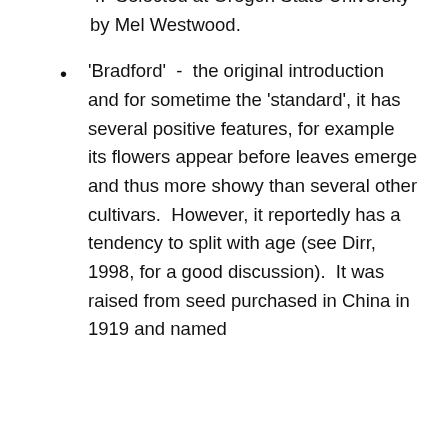4.  Selected at Oregon State University by Mel Westwood.
'Bradford'  -  the original introduction and for sometime the 'standard', it has several positive features, for example its flowers appear before leaves emerge and thus more showy than several other cultivars.  However, it reportedly has a tendency to split with age (see Dirr, 1998, for a good discussion).  It was raised from seed purchased in China in 1919 and named